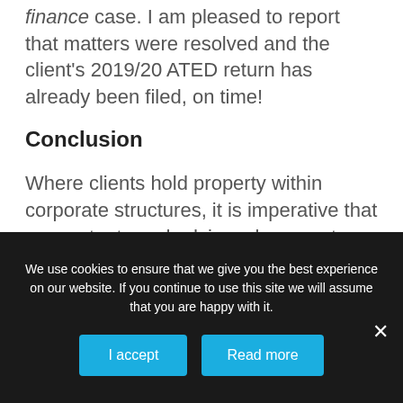finance case. I am pleased to report that matters were resolved and the client's 2019/20 ATED return has already been filed, on time!
Conclusion
Where clients hold property within corporate structures, it is imperative that accountants and advisers keep up to date with what their client is doing, or their future plans, and ensure that all acquisitions and disposals are reported to HMRC in a timely manner.  If cases of historic transactions are encountered then it may be
We use cookies to ensure that we give you the best experience on our website. If you continue to use this site we will assume that you are happy with it.